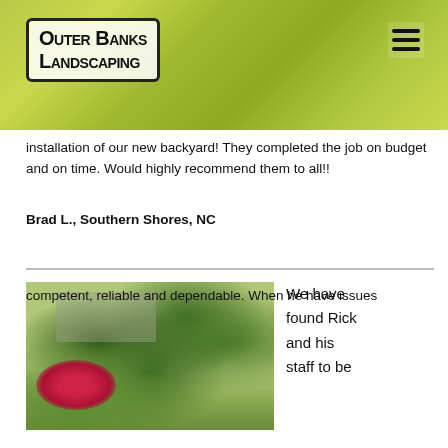Outer Banks Landscaping
installation of our new backyard! They completed the job on budget and on time. Would highly recommend them to all!!
Brad L., Southern Shores, NC
[Figure (photo): Landscaped garden with lush green trees, red flowering plants, and a building in the background next to water]
We have found Rick and his staff to be
competent, reliable and dependable. When he have issues